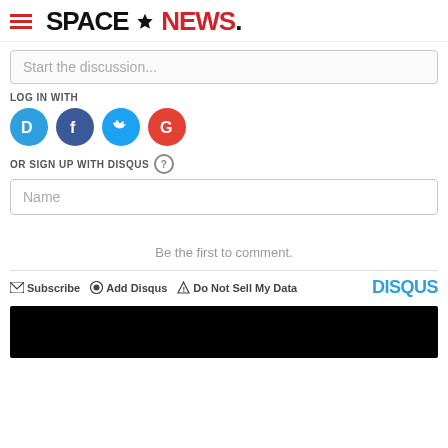SPACENEWS
Start the discussion...
LOG IN WITH
[Figure (illustration): Social login icons: Disqus (blue circle with D), Facebook (dark blue circle with f), Twitter (light blue circle with bird), Google (red circle with G)]
OR SIGN UP WITH DISQUS
Name
Be the first to comment.
Subscribe  Add Disqus  Do Not Sell My Data  DISQUS